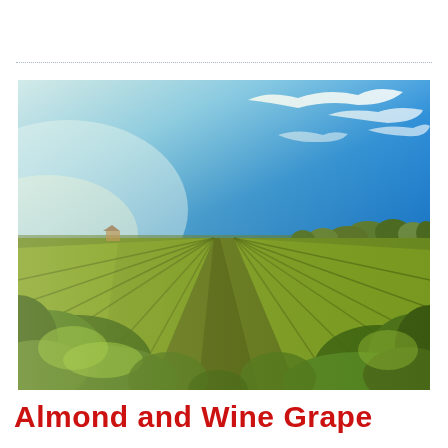[Figure (photo): Wide-angle photograph of a vineyard with rows of green-yellow grapevines receding into the distance, taken from a low vantage point at ground level. The sky above is bright blue with wispy white cirrus clouds. Trees line the horizon behind the vines.]
Almond and Wine Grape